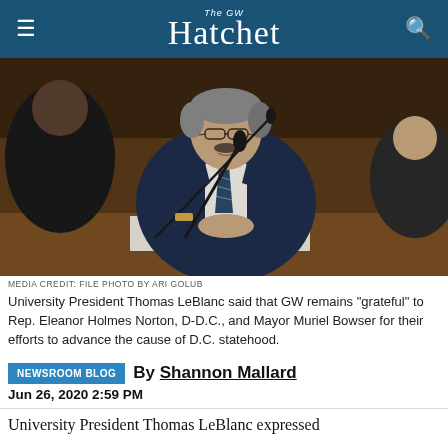The GW Hatchet
[Figure (photo): University President Thomas LeBlanc seated at a hearing table speaking into microphones, wearing a navy suit and blue patterned tie, with other officials visible in the background in a formal hearing room setting.]
MEDIA CREDIT: FILE PHOTO BY ARI GOLUB
University President Thomas LeBlanc said that GW remains "grateful" to Rep. Eleanor Holmes Norton, D-D.C., and Mayor Muriel Bowser for their efforts to advance the cause of D.C. statehood.
NEWSROOM BLOG  By Shannon Mallard
Jun 26, 2020 2:59 PM
University President Thomas LeBlanc expressed